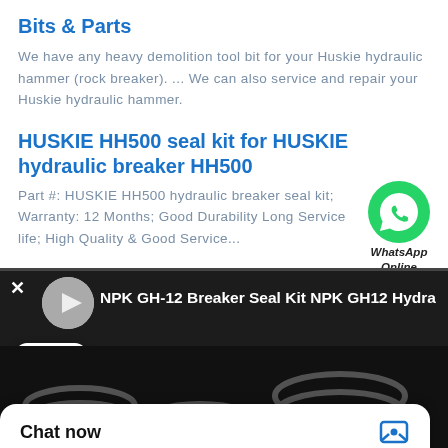Bits & Parts
We have any heavy demolition tool bit for your Huskie hydraulic hammer (rock breaker). ... We can also service and repair your Huskie hydraulic hammer.
HUSKIE HH500 seal kit for HUSKIE hydraulic breaker HH500
Part #: HUSKIE HH500 hydraulic breaker seal kit; Warranty: 12 Months; Good Durability Long Service life; High Quality & Good Service...
[Figure (screenshot): WhatsApp Online widget with green phone icon]
[Figure (screenshot): Video thumbnail bar showing 'NPK GH-12 Breaker Seal Kit NPK GH12 Hydra' title with dark background, close button, loading dots, and coiled hydraulic hoses in background]
Chat now